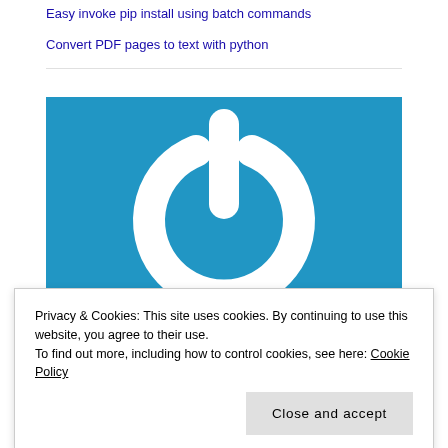Easy invoke pip install using batch commands
Convert PDF pages to text with python
[Figure (logo): Blue background with a white power button / shutdown icon (circle with a vertical bar notch at top), styled logo image]
Privacy & Cookies: This site uses cookies. By continuing to use this website, you agree to their use.
To find out more, including how to control cookies, see here: Cookie Policy
Close and accept